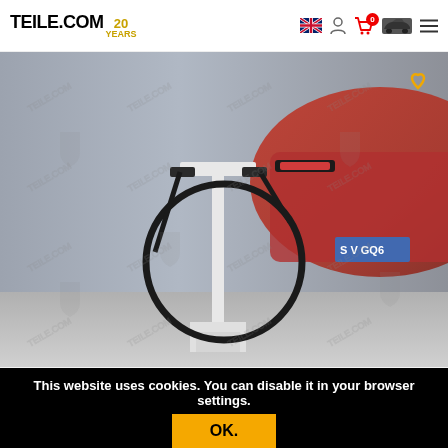TEILE.COM 20 YEARS - navigation header with logo, language flag, user icon, cart (0), car thumbnail, menu
[Figure (photo): Product photo of a bonnet gas strut (black cable/spring component) displayed on a white T-shaped stand, with a red Porsche sports car visible in the background. The image has TEILE.COM watermarks tiled across it.]
Bonnet gas strut
This website uses cookies. You can disable it in your browser settings.
OK.